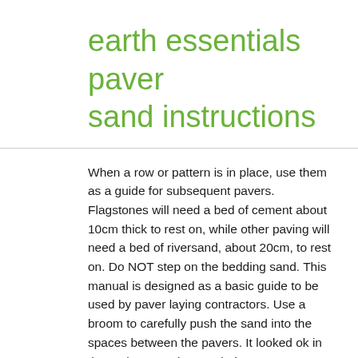earth essentials paver sand instructions
When a row or pattern is in place, use them as a guide for subsequent pavers. Flagstones will need a bed of cement about 10cm thick to rest on, while other paving will need a bed of riversand, about 20cm, to rest on. Do NOT step on the bedding sand. This manual is designed as a basic guide to be used by paver laying contractors. Use a broom to carefully push the sand into the spaces between the pavers. It looked ok in the real-estate pictures, it d… Step 3 - Laying the base materials . Continue this process until the entire patio area is covered with level paver sand. Spread an additional ½ in (1.25 cm) of levelling sand over the tops of the stones. When this is done correctly, the sand will keep the pavers in place during the lifespan